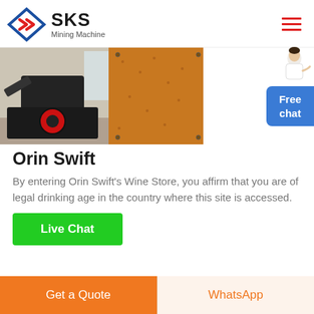SKS Mining Machine
[Figure (photo): Mining/crushing machine equipment in a workshop or factory setting, showing a large black industrial crusher with red wheel detail, beside orange/wooden textured panel or material]
Orin Swift
By entering Orin Swift's Wine Store, you affirm that you are of legal drinking age in the country where this site is accessed.
Live Chat
Get a Quote   WhatsApp